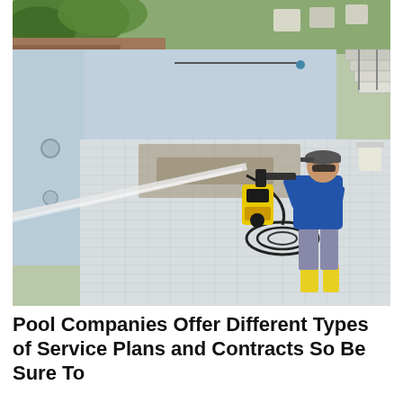[Figure (photo): A person in a blue jacket and yellow rubber boots using a yellow and black pressure washer to clean the bottom and walls of an empty swimming pool. The pool interior is tiled and there is debris on the floor. A hose coils on the ground. Trees and outdoor furniture are visible in the background.]
Pool Companies Offer Different Types of Service Plans and Contracts So Be Sure To